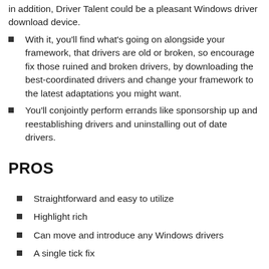In addition, Driver Talent could be a pleasant Windows driver download device.
With it, you'll find what's going on alongside your framework, that drivers are old or broken, so encourage fix those ruined and broken drivers, by downloading the best-coordinated drivers and change your framework to the latest adaptations you might want.
You'll conjointly perform errands like sponsorship up and reestablishing drivers and uninstalling out of date drivers.
PROS
Straightforward and easy to utilize
Highlight rich
Can move and introduce any Windows drivers
A single tick fix